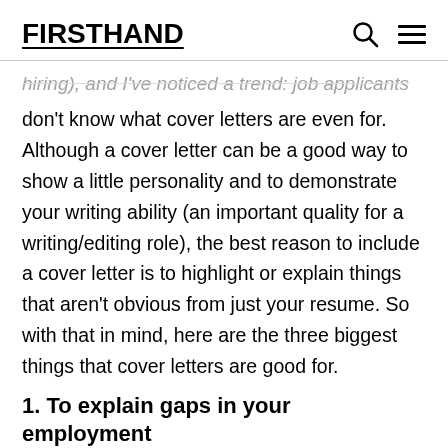FIRSTHAND
…hiring), and I've noticed a trend: job applicants don't know what cover letters are even for. Although a cover letter can be a good way to show a little personality and to demonstrate your writing ability (an important quality for a writing/editing role), the best reason to include a cover letter is to highlight or explain things that aren't obvious from just your resume. So with that in mind, here are the three biggest things that cover letters are good for.
1. To explain gaps in your employment